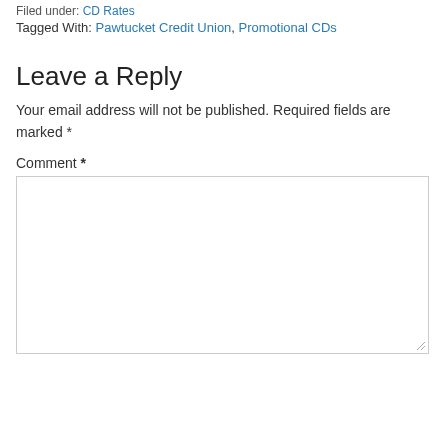Filed under: CD Rates
Tagged With: Pawtucket Credit Union, Promotional CDs
Leave a Reply
Your email address will not be published. Required fields are marked *
Comment *